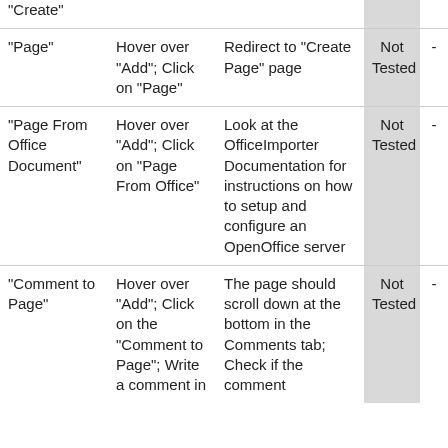| Feature | Steps | Expected Result | Status | Notes |
| --- | --- | --- | --- | --- |
| "Create" |  |  | Not Tested | - |
| "Page" | Hover over "Add"; Click on "Page" | Redirect to "Create Page" page | Not Tested | - |
| "Page From Office Document" | Hover over "Add"; Click on "Page From Office" | Look at the OfficeImporter Documentation for instructions on how to setup and configure an OpenOffice server | Not Tested | - |
| "Comment to Page" | Hover over "Add"; Click on the "Comment to Page"; Write a comment in | The page should scroll down at the bottom in the Comments tab; Check if the comment | Not Tested | - |